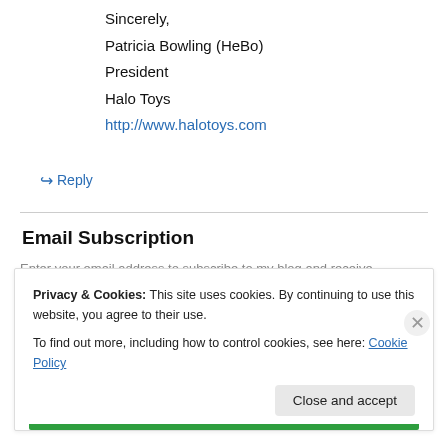Sincerely,
Patricia Bowling (HeBo)
President
Halo Toys
http://www.halotoys.com
↳ Reply
Email Subscription
Enter your email address to subscribe to my blog and receive
Privacy & Cookies: This site uses cookies. By continuing to use this website, you agree to their use.
To find out more, including how to control cookies, see here: Cookie Policy
Close and accept